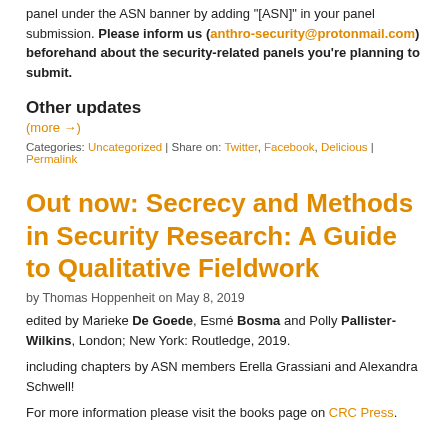panel under the ASN banner by adding "[ASN]" in your panel submission. Please inform us (anthro-security@protonmail.com) beforehand about the security-related panels you're planning to submit.
Other updates
(more →)
Categories: Uncategorized | Share on: Twitter, Facebook, Delicious | Permalink
Out now: Secrecy and Methods in Security Research: A Guide to Qualitative Fieldwork
by Thomas Hoppenheit on May 8, 2019
edited by Marieke De Goede, Esmé Bosma and Polly Pallister-Wilkins, London; New York: Routledge, 2019.
including chapters by ASN members Erella Grassiani and Alexandra Schwell!
For more information please visit the books page on CRC Press.